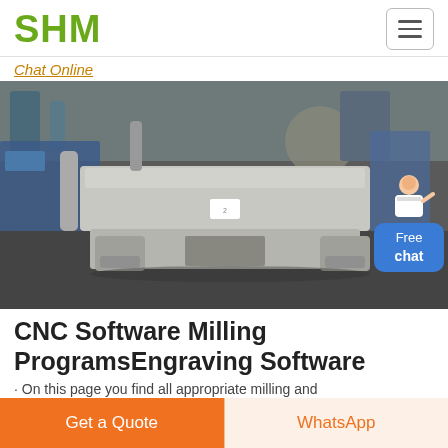SHM
Chat Online
[Figure (photo): Industrial machine part (CNC milling machine base/table) in a factory setting, painted light grey, with complex cast iron structure, sitting on a factory floor.]
CNC Software Milling ProgramsEngraving Software
· On this page you find all appropriate milling and
Get a Quote
WhatsApp